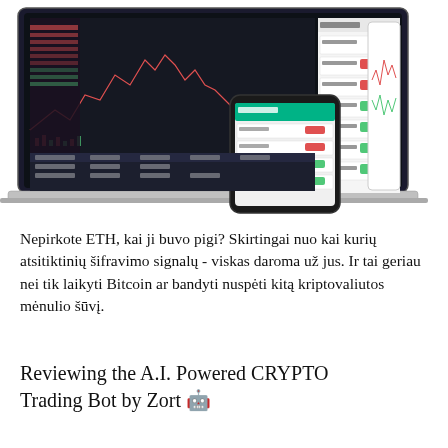[Figure (screenshot): Screenshot of a cryptocurrency trading platform (Pionex) showing a dark-themed trading interface on a laptop with a candlestick chart, order book, and trading bot panels. A smartphone is shown in the foreground displaying a trading bot interface with green and red buttons. A tablet on the right shows a line chart.]
Nepirkote ETH, kai ji buvo pigi? Skirtingai nuo kai kurių atsitiktinių šifravimo signalų - viskas daroma už jus. Ir tai geriau nei tik laikyti Bitcoin ar bandyti nuspėti kitą kriptovaliutos mėnulio šūvį.
Reviewing the A.I. Powered CRYPTO Trading Bot by Zort 🤖